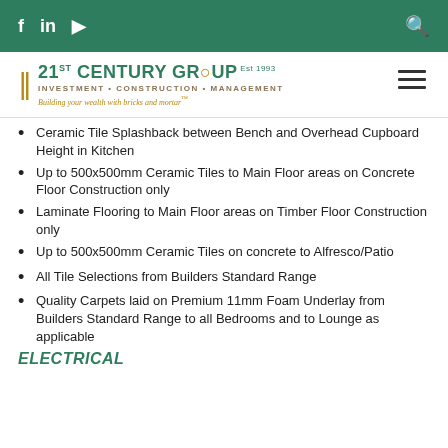f  in  ▶  [search icon] — 21ST CENTURY GROUP Est 1993 INVESTMENT • CONSTRUCTION • MANAGEMENT Building your wealth with bricks and mortar™
Ceramic Tile Splashback between Bench and Overhead Cupboard Height in Kitchen
Up to 500x500mm Ceramic Tiles to Main Floor areas on Concrete Floor Construction only
Laminate Flooring to Main Floor areas on Timber Floor Construction only
Up to 500x500mm Ceramic Tiles on concrete to Alfresco/Patio
All Tile Selections from Builders Standard Range
Quality Carpets laid on Premium 11mm Foam Underlay from Builders Standard Range to all Bedrooms and to Lounge as applicable
ELECTRICAL